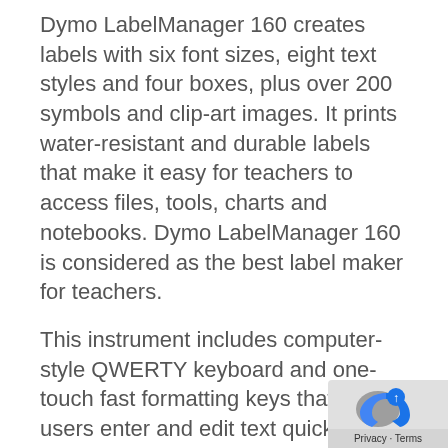Dymo LabelManager 160 creates labels with six font sizes, eight text styles and four boxes, plus over 200 symbols and clip-art images. It prints water-resistant and durable labels that make it easy for teachers to access files, tools, charts and notebooks. Dymo LabelManager 160 is considered as the best label maker for teachers.
This instrument includes computer-style QWERTY keyboard and one-touch fast formatting keys that help users enter and edit text quickly.
Dymo LabelManager 160 uses D1 label
[Figure (logo): reCAPTCHA privacy badge with blue and grey icon, showing Privacy · Terms text]